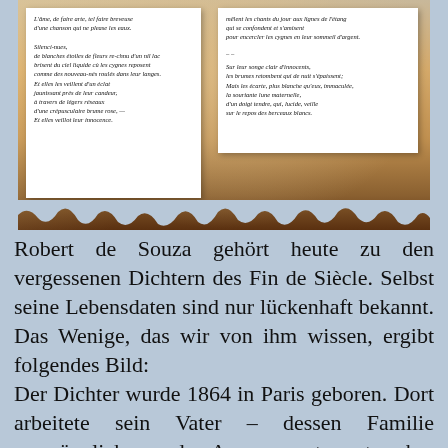[Figure (illustration): Parchment scroll or aged paper background with two white paper inserts containing French poetry text. The left paper shows stanzas beginning with 'L'âme, de faire arte, tel faire breveuse d'une chanson qui ne please les eaux.' and 'Silenci-nues, de blanches étoiles de fleurs re-chnu d'un nil lac brisent du ciel liquide cù les cygnes reposent comme des nouveau-nés roulés dans leur langes. Et elles les veillent d'un éclat jaunissant près de leur candeur, à travers de légers réseaux d'une crépusculaire brume rose, — Et elles veillot leur innocence.' The right paper shows 'mêlent les chants du jour aux lignes de l'étang qui se confondent et s'amisent pour encercler les cygnes en leur sommeil d'argent. Sur leur songe clair d'innocents, les brumes retombent qui de nuit s'épaissent; Mais les écarte, plus blanche qu'eux, immaculée, la souriante lune maternelle, d'un doigt tendre, qui, lucide, veille sur le repos des berceaux blancs.']
Robert de Souza gehört heute zu den vergessenen Dichtern des Fin de Siècle. Selbst seine Lebensdaten sind nur lückenhaft bekannt. Das Wenige, das wir von ihm wissen, ergibt folgendes Bild: Der Dichter wurde 1864 in Paris geboren. Dort arbeitete sein Vater – dessen Familie ursprünglich aus der Auvergne stammte, aber bereits im 17. Jahrhundert nach Portugal